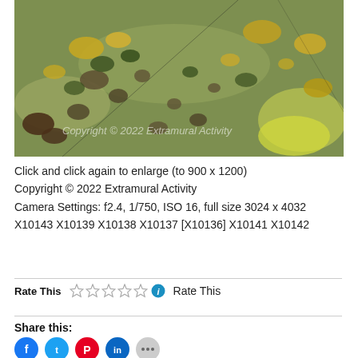[Figure (photo): Aerial photograph looking down at a green grassy field with patches of yellow flowering gorse/bushes and bare earth, with a faint line visible diagonally. A watermark reads 'Copyright © 2022 Extramural Activity' across the lower portion.]
Click and click again to enlarge (to 900 x 1200)
Copyright © 2022 Extramural Activity
Camera Settings: f2.4, 1/750, ISO 16, full size 3024 x 4032
X10143 X10139 X10138 X10137 [X10136] X10141 X10142
Rate This   Rate This
Share this: